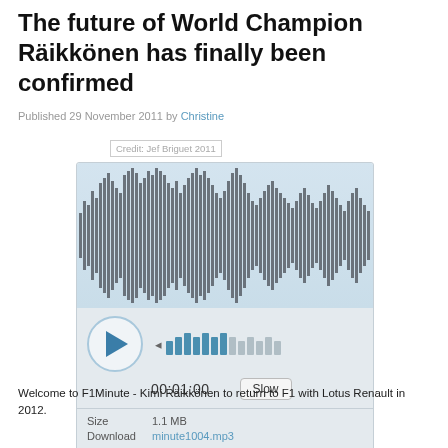The future of World Champion Räikkönen has finally been confirmed
Published 29 November 2011 by Christine
Credit: Jef Briguet 2011
[Figure (other): Audio player widget showing waveform visualization, play button, volume control bars, time display 00:01:00, Slow button, Size 1.1 MB, Download link minute1004.mp3]
Welcome to F1Minute - Kimi Räikkönen to return to F1 with Lotus Renault in 2012.